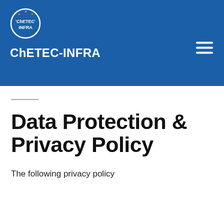[Figure (logo): ChETEC-INFRA logo — circular design with stars and text ChETEC INFRA on a blue background]
ChETEC-INFRA
Data Protection & Privacy Policy
The following privacy policy